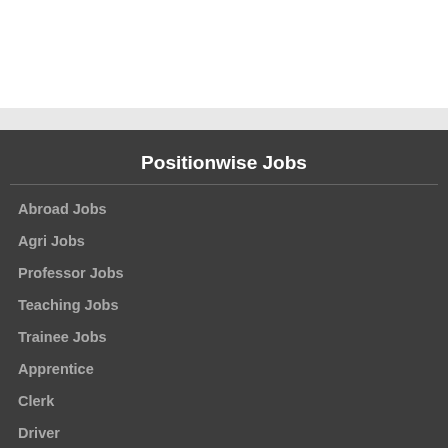Positionwise Jobs
Abroad Jobs
Agri Jobs
Professor Jobs
Teaching Jobs
Trainee Jobs
Apprentice
Clerk
Driver